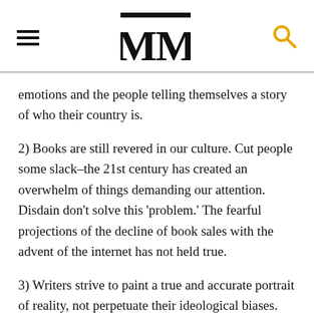MM
emotions and the people telling themselves a story of who their country is.
2) Books are still revered in our culture. Cut people some slack–the 21st century has created an overwhelm of things demanding our attention. Disdain don't solve this 'problem.' The fearful projections of the decline of book sales with the advent of the internet has not held true.
3) Writers strive to paint a true and accurate portrait of reality, not perpetuate their ideological biases. Your writing would be strengthened by honest, real conversations with those who